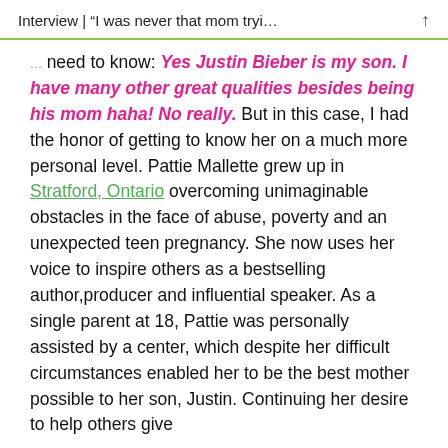Interview | “I was never that mom tryi…
need to know: Yes Justin Bieber is my son. I have many other great qualities besides being his mom haha! No really. But in this case, I had the honor of getting to know her on a much more personal level. Pattie Mallette grew up in Stratford, Ontario overcoming unimaginable obstacles in the face of abuse, poverty and an unexpected teen pregnancy. She now uses her voice to inspire others as a bestselling author,producer and influential speaker. As a single parent at 18, Pattie was personally assisted by a center, which despite her difficult circumstances enabled her to be the best mother possible to her son, Justin. Continuing her desire to help others give